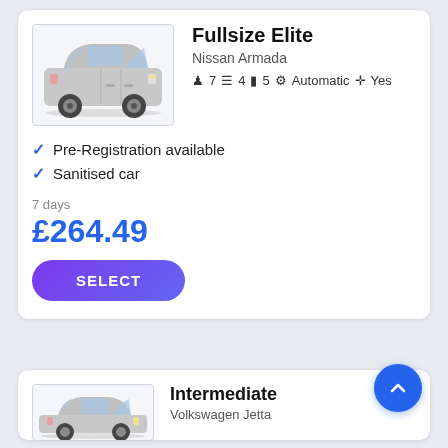Fullsize Elite
Nissan Armada
7  4  5  Automatic  Yes
Pre-Registration available
Sanitised car
7 days
£264.49
SELECT
[Figure (photo): Silver Nissan Armada SUV front 3/4 view]
Intermediate
Volkswagen Jetta
[Figure (photo): Silver Volkswagen Jetta sedan front 3/4 view]